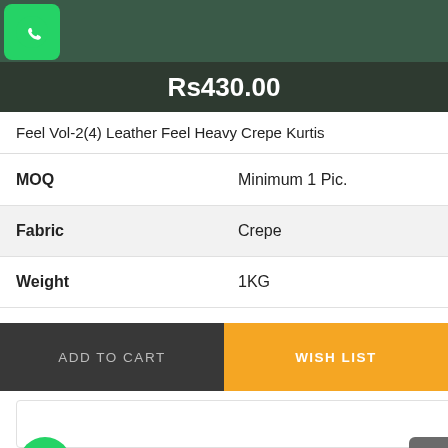[Figure (screenshot): Top image bar with dark green background and WhatsApp icon in green rounded square at top-left]
Rs430.00
Feel Vol-2(4) Leather Feel Heavy Crepe Kurtis
| MOQ | Minimum 1 Pic. |
| Fabric | Crepe |
| Weight | 1KG |
ADD TO CART
WISH LIST
[Figure (screenshot): Lower white card section with WhatsApp floating button at bottom-left and back-to-top button at bottom-right]